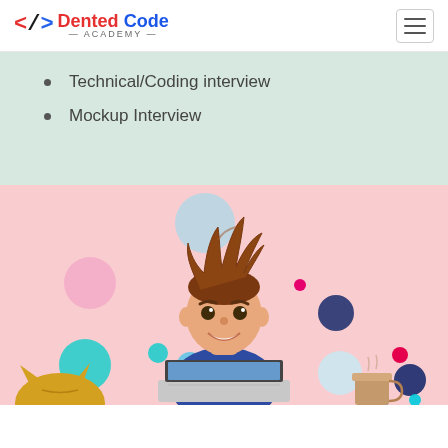Dented Code Academy
Technical/Coding interview
Mockup Interview
[Figure (illustration): Cartoon illustration of a smiling young man with spiky brown hair sitting at a laptop, working. Background is pink with colorful circles (teal, blue, pink, magenta, dark blue). A cat and a coffee cup are partially visible at the bottom.]